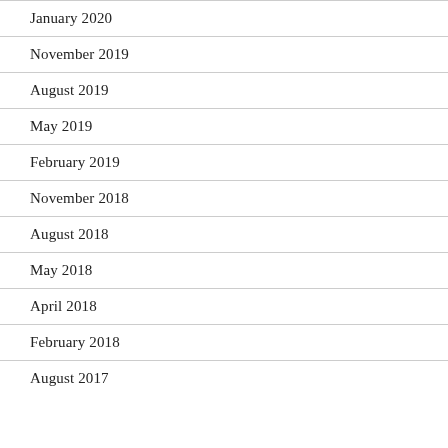January 2020
November 2019
August 2019
May 2019
February 2019
November 2018
August 2018
May 2018
April 2018
February 2018
August 2017